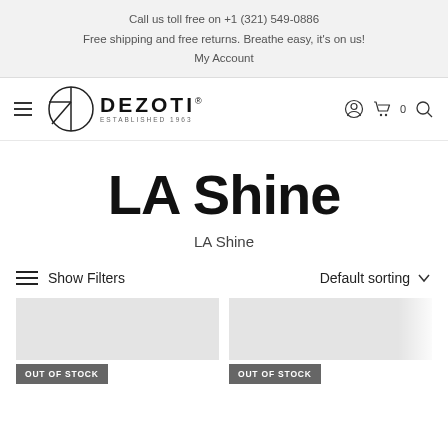Call us toll free on +1 (321) 549-0886
Free shipping and free returns. Breathe easy, it's on us!
My Account
[Figure (logo): Dezoti brand logo with circular emblem and text 'DEZOTI ESTABLISHED 1963']
LA Shine
LA Shine
Show Filters   Default sorting
OUT OF STOCK   OUT OF STOCK